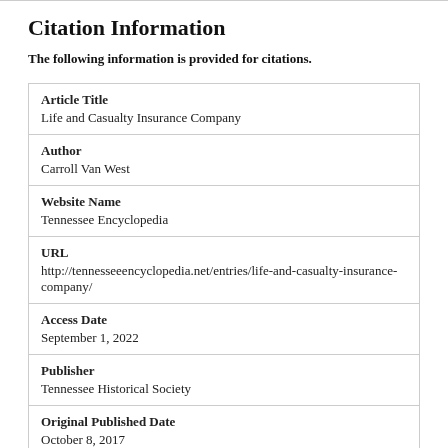Citation Information
The following information is provided for citations.
| Field | Value |
| --- | --- |
| Article Title | Life and Casualty Insurance Company |
| Author | Carroll Van West |
| Website Name | Tennessee Encyclopedia |
| URL | http://tennesseeencyclopedia.net/entries/life-and-casualty-insurance-company/ |
| Access Date | September 1, 2022 |
| Publisher | Tennessee Historical Society |
| Original Published Date | October 8, 2017 |